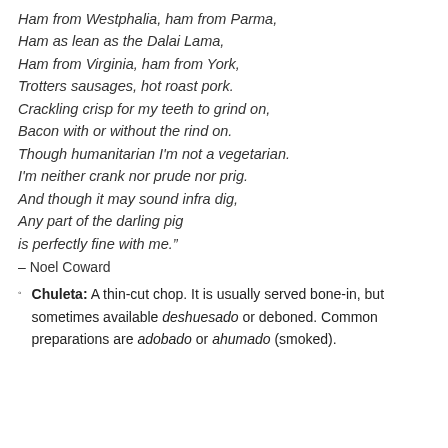Ham from Westphalia, ham from Parma,
Ham as lean as the Dalai Lama,
Ham from Virginia, ham from York,
Trotters sausages, hot roast pork.
Crackling crisp for my teeth to grind on,
Bacon with or without the rind on.
Though humanitarian I'm not a vegetarian.
I'm neither crank nor prude nor prig.
And though it may sound infra dig,
Any part of the darling pig
is perfectly fine with me."
– Noel Coward
Chuleta: A thin-cut chop. It is usually served bone-in, but sometimes available deshuesado or deboned. Common preparations are adobado or ahumado (smoked).